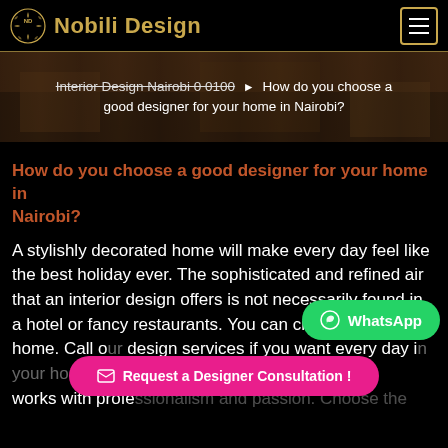Nobili Design
Interior Design Nairobi 0 0100 ▶ How do you choose a good designer for your home in Nairobi?
How do you choose a good designer for your home in Nairobi?
A stylishly decorated home will make every day feel like the best holiday ever. The sophisticated and refined air that an interior design offers is not necessarily found in a hotel or fancy restaurants. You can create it right at home. Call our design services if you want every day in your home to be special. Lo... works with professionalism and passion. Choose the interior designer from our Nairobi, so you feel at...
[Figure (other): WhatsApp floating button (green pill-shaped)]
[Figure (other): Request a Designer Consultation floating button (pink pill-shaped)]